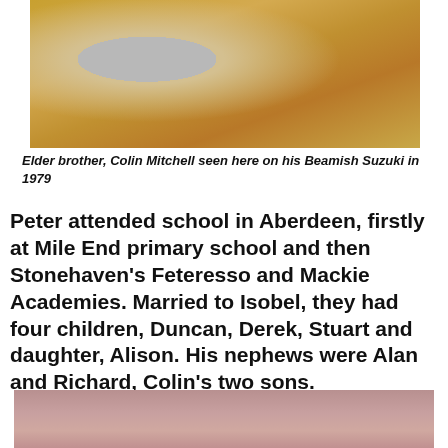[Figure (photo): Old photograph of Colin Mitchell on his Beamish Suzuki motorcycle, taken in 1979. A bicycle wheel is visible in the background, surrounded by golden dry grass.]
Elder brother, Colin Mitchell seen here on his Beamish Suzuki in 1979
Peter attended school in Aberdeen, firstly at Mile End primary school and then Stonehaven's Feteresso and Mackie Academies. Married to Isobel, they had four children, Duncan, Derek, Stuart and daughter, Alison. His nephews were Alan and Richard, Colin's two sons.
[Figure (photo): Old photograph of a man in a red jacket smiling, standing near a car, with other people visible in the background.]